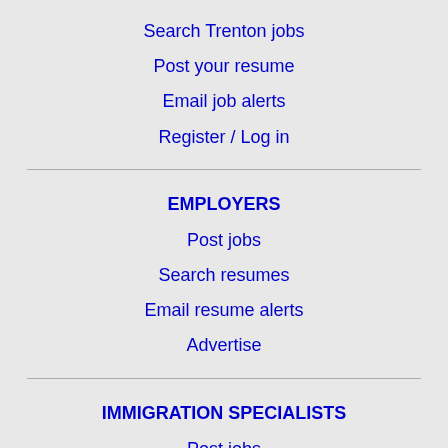Search Trenton jobs
Post your resume
Email job alerts
Register / Log in
EMPLOYERS
Post jobs
Search resumes
Email resume alerts
Advertise
IMMIGRATION SPECIALISTS
Post jobs
Immigration FAQs
Learn more